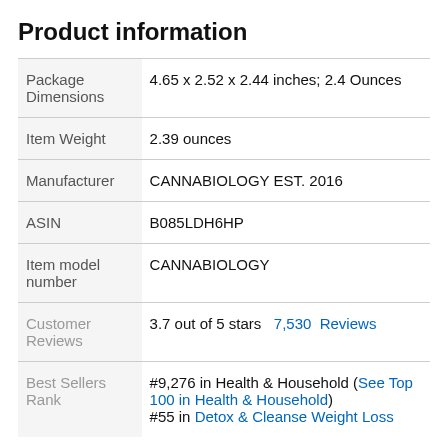Product information
|  |  |
| --- | --- |
| Package Dimensions | 4.65 x 2.52 x 2.44 inches; 2.4 Ounces |
| Item Weight | 2.39 ounces |
| Manufacturer | CANNABIOLOGY EST. 2016 |
| ASIN | B085LDH6HP |
| Item model number | CANNABIOLOGY |
| Customer Reviews | 3.7 out of 5 stars  7,530  Reviews |
| Best Sellers Rank | #9,276 in Health & Household (See Top 100 in Health & Household)
#55 in Detox & Cleanse Weight Loss |